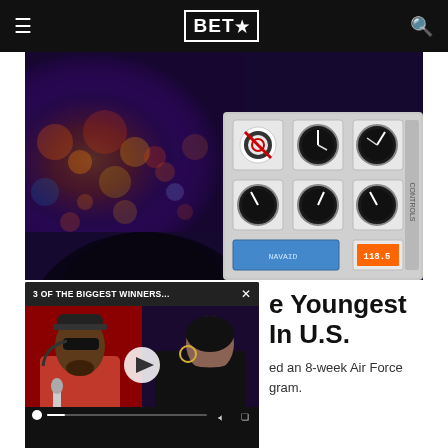BET★
[Figure (photo): Cockpit interior of an aircraft at night, showing instrument panel with multiple gauges and dials on the right, and city lights bokeh visible through the windshield on the left. Dark moody atmosphere with blue and orange tones.]
...e Youngest In U.S.
...ed an 8-week Air Force gram.
[Figure (screenshot): Video player overlay showing '3 OF THE BIGGEST WINNERS...' title bar with an X close button, and a thumbnail showing two people (a man in red with sunglasses and a woman in black) with a play button in the center and a progress bar at the bottom.]